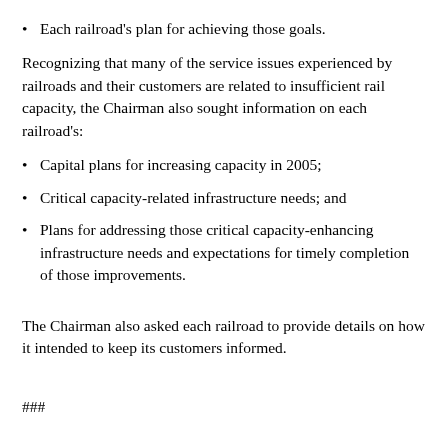Each railroad's plan for achieving those goals.
Recognizing that many of the service issues experienced by railroads and their customers are related to insufficient rail capacity, the Chairman also sought information on each railroad's:
Capital plans for increasing capacity in 2005;
Critical capacity-related infrastructure needs; and
Plans for addressing those critical capacity-enhancing infrastructure needs and expectations for timely completion of those improvements.
The Chairman also asked each railroad to provide details on how it intended to keep its customers informed.
###